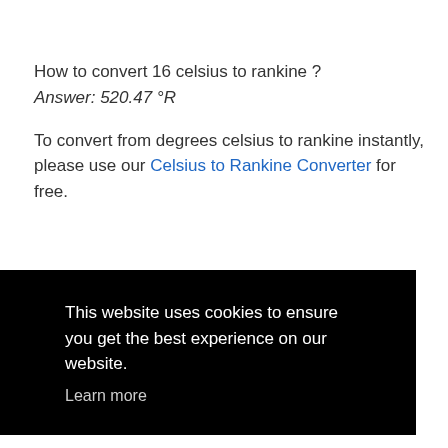How to convert 16 celsius to rankine ?
Answer: 520.47 °R
To convert from degrees celsius to rankine instantly, please use our Celsius to Rankine Converter for free.
This website uses cookies to ensure you get the best experience on our website.
Learn more